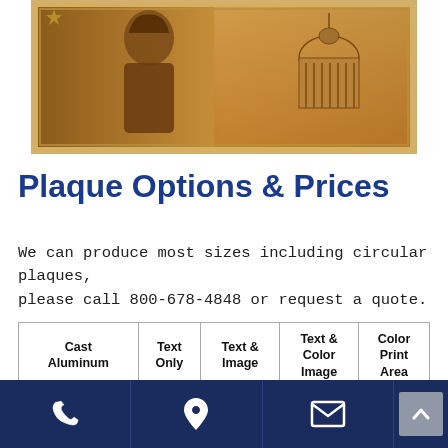[Figure (illustration): A bronze/sepia-toned plaque illustration showing a historical figure (founding father style) on the left and the US Capitol building on the right, with a decorative border]
Plaque Options & Prices
We can produce most sizes including circular plaques, please call 800-678-4848 or request a quote.
| Cast Aluminum | Text Only | Text & Image | Text & Color Image | Color Print Area |
| --- | --- | --- | --- | --- |
Phone | Location | Email | Scroll up